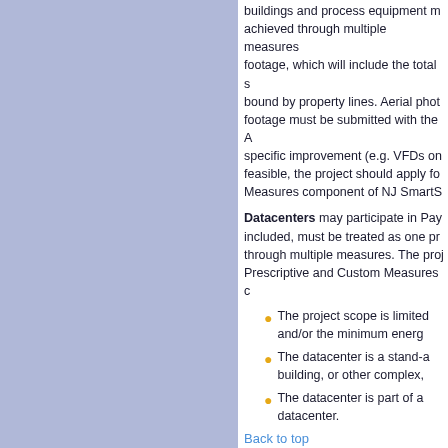buildings and process equipment must be achieved through multiple measures. The square footage, which will include the total square footage bound by property lines. Aerial photos of square footage must be submitted with the Application. A specific improvement (e.g. VFDs on motors) is feasible, the project should apply for the Custom Measures component of NJ SmartStart.
Datacenters may participate in Pay-for-Performance included, must be treated as one project achieved through multiple measures. The project can include Prescriptive and Custom Measures components.
The project scope is limited to the datacenter and/or the minimum energy infrastructure.
The datacenter is a stand-alone building, or other complex,
The datacenter is part of a building with no datacenter.
Back to top
Multifamily Buildings
Should I enroll my multifamily building for Performance Program?
Download the multifamily flow chart into the Residential program or the C has fallen into the wrong category pl NJSMART.